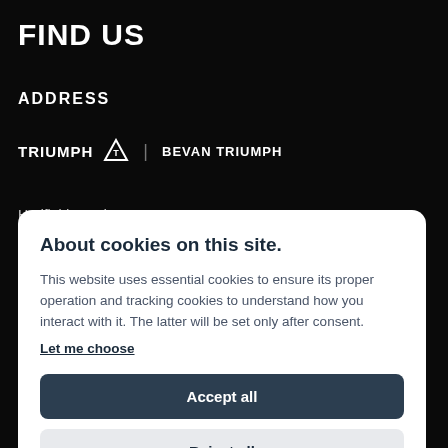FIND US
ADDRESS
[Figure (logo): Triumph motorcycle brand logo with triangle emblem and text 'TRIUMPH | BEVAN TRIUMPH']
Hadfield Road,
About cookies on this site.
This website uses essential cookies to ensure its proper operation and tracking cookies to understand how you interact with it. The latter will be set only after consent. Let me choose
Accept all
Reject all
All Bank Holidays – Closed